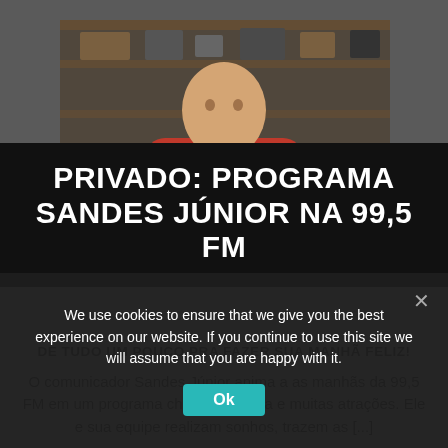[Figure (photo): Man in red t-shirt with arms crossed, sitting in front of shelves with old radio equipment, logo '99.5' visible on shirt]
PRIVADO: PROGRAMA SANDES JÚNIOR NA 99,5 FM
DE TUDO UM POUCO PRA FAZER SUA MANHÃ FELIZ!
O comunicador Sandes Júnior anima a as manhãs da 99,5 FM em um programa cheio de alegria e muitas atrações. Ele e sua equipe realizam sonhos, trazem as [...]
We use cookies to ensure that we give you the best experience on our website. If you continue to use this site we will assume that you are happy with it.